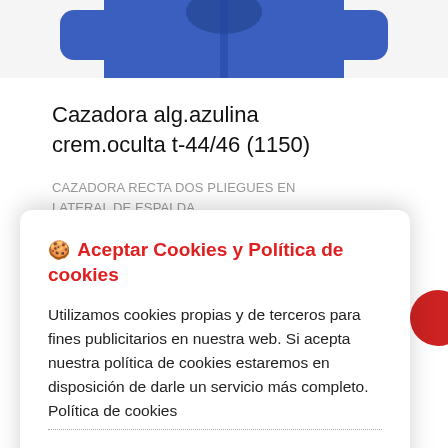[Figure (photo): Partial view of a blue jacket/cazadora product image at the top of the page]
Cazadora alg.azulina crem.oculta t-44/46 (1150)
CAZADORA RECTA DOS PLIEGUES EN LATERAL DE ESPALDA (100% Algodón)
🍪 Aceptar Cookies y Política de cookies
Utilizamos cookies propias y de terceros para fines publicitarios en nuestra web. Si acepta nuestra política de cookies estaremos en disposición de darle un servicio más completo. Política de cookies
Aceptar | Personalizar cookies